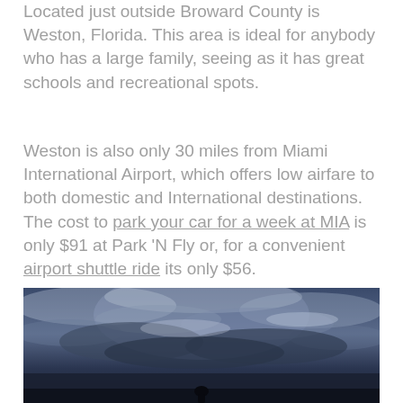Located just outside Broward County is Weston, Florida. This area is ideal for anybody who has a large family, seeing as it has great schools and recreational spots.
Weston is also only 30 miles from Miami International Airport, which offers low airfare to both domestic and International destinations. The cost to park your car for a week at MIA is only $91 at Park 'N Fly or, for a convenient airport shuttle ride its only $56.
[Figure (photo): A dramatic sky scene with dark blue and grey clouds, partially illuminated, with a dark silhouette of landscape at the bottom.]